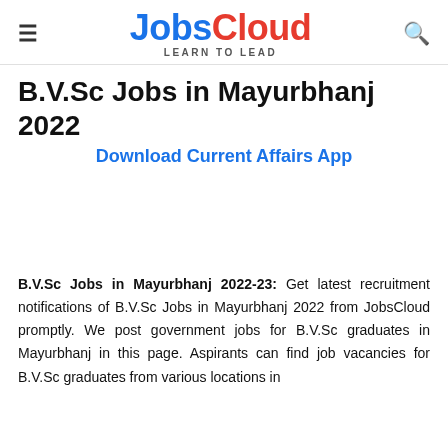JobsCloud — LEARN TO LEAD
B.V.Sc Jobs in Mayurbhanj 2022
Download Current Affairs App
B.V.Sc Jobs in Mayurbhanj 2022-23: Get latest recruitment notifications of B.V.Sc Jobs in Mayurbhanj 2022 from JobsCloud promptly. We post government jobs for B.V.Sc graduates in Mayurbhanj in this page. Aspirants can find job vacancies for B.V.Sc graduates from various locations in